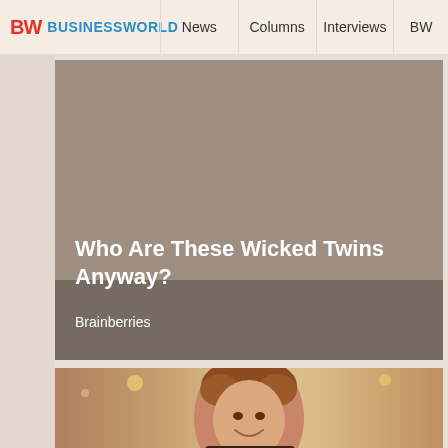BW BUSINESSWORLD | News | Columns | Interviews | BW
[Figure (illustration): Advertisement or promoted content card with taupe/brownish-grey background showing title overlay: 'Who Are These Wicked Twins Anyway?' with source 'Brainberries']
Who Are These Wicked Twins Anyway?
Brainberries
[Figure (photo): Photograph of a young woman with red curly hair, smiling, wearing a dark sequined dress and a necklace, in a warmly lit interior setting]